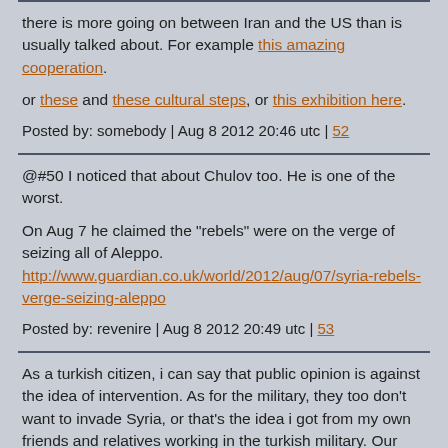there is more going on between Iran and the US than is usually talked about. For example this amazing cooperation.
or these and these cultural steps, or this exhibition here.
Posted by: somebody | Aug 8 2012 20:46 utc | 52
@#50 I noticed that about Chulov too. He is one of the worst.

On Aug 7 he claimed the "rebels" were on the verge of seizing all of Aleppo.
http://www.guardian.co.uk/world/2012/aug/07/syria-rebels-verge-seizing-aleppo
Posted by: revenire | Aug 8 2012 20:49 utc | 53
As a turkish citizen, i can say that public opinion is against the idea of intervention. As for the military, they too don't want to invade Syria, or that's the idea i got from my own friends and relatives working in the turkish military. Our Army isn't that modernized and isn't build to invade other countries. We don't have enough capacity attack and invade a country, and people aware of that fact. They also realize that their children would go and die, if it comes to the war